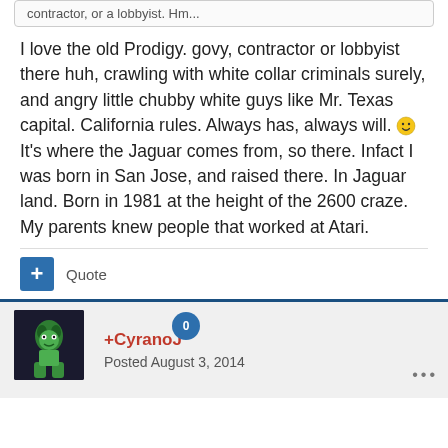contractor, or a lobbyist. Hm...
I love the old Prodigy. govy, contractor or lobbyist there huh, crawling with white collar criminals surely, and angry little chubby white guys like Mr. Texas capital. California rules. Always has, always will. 🙂 It's where the Jaguar comes from, so there. Infact I was born in San Jose, and raised there. In Jaguar land. Born in 1981 at the height of the 2600 craze. My parents knew people that worked at Atari.
Quote
+CyranoJ
Posted August 3, 2014